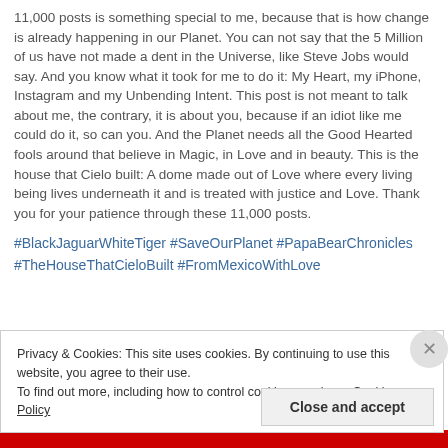11,000 posts is something special to me, because that is how change is already happening in our Planet. You can not say that the 5 Million of us have not made a dent in the Universe, like Steve Jobs would say. And you know what it took for me to do it: My Heart, my iPhone, Instagram and my Unbending Intent. This post is not meant to talk about me, the contrary, it is about you, because if an idiot like me could do it, so can you. And the Planet needs all the Good Hearted fools around that believe in Magic, in Love and in beauty. This is the house that Cielo built: A dome made out of Love where every living being lives underneath it and is treated with justice and Love. Thank you for your patience through these 11,000 posts.
#BlackJaguarWhiteTiger #SaveOurPlanet #PapaBearChronicles #TheHouseThatCieloBuilt #FromMexicoWithLove
Privacy & Cookies: This site uses cookies. By continuing to use this website, you agree to their use. To find out more, including how to control cookies, see here: Cookie Policy
Close and accept